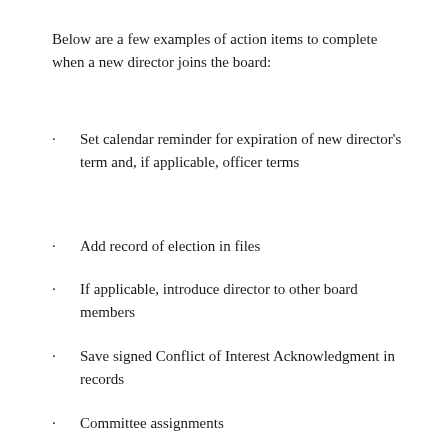Below are a few examples of action items to complete when a new director joins the board:
Set calendar reminder for expiration of new director's term and, if applicable, officer terms
Add record of election in files
If applicable, introduce director to other board members
Save signed Conflict of Interest Acknowledgment in records
Committee assignments